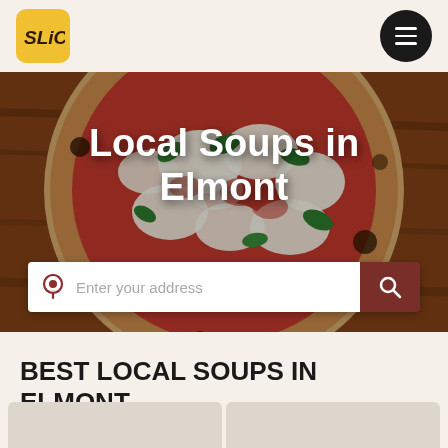Slice logo and navigation menu
[Figure (photo): Hero image of a Margherita pizza with tomato sauce, fresh mozzarella, and basil leaves on a wooden board. Overlaid with large white bold text reading 'Local Soups in Elmont' and a search bar with location pin icon and dark red search button.]
BEST LOCAL SOUPS IN ELMONT, NEW YORK